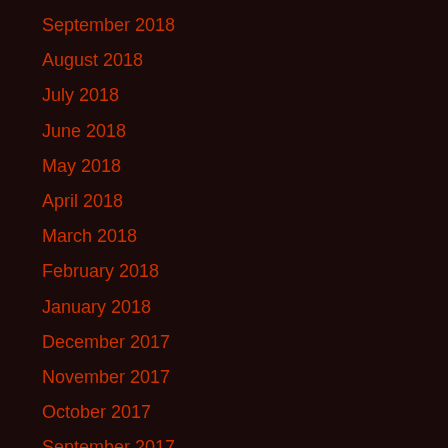September 2018
August 2018
July 2018
June 2018
May 2018
April 2018
March 2018
February 2018
January 2018
December 2017
November 2017
October 2017
September 2017
August 2017
June 2017